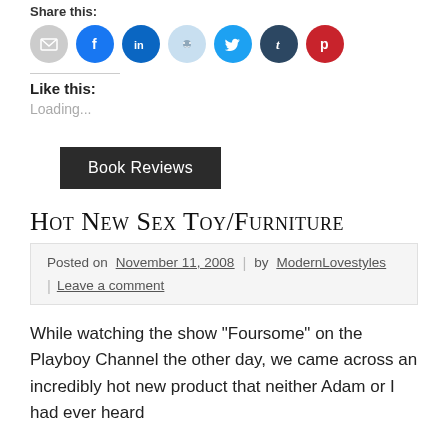Share this:
[Figure (infographic): Row of social share icon buttons: email (grey), Facebook (blue), LinkedIn (blue), Reddit (light blue), Twitter (cyan), Tumblr (dark teal), Pinterest (red)]
Like this:
Loading...
Book Reviews
HOT NEW SEX TOY/FURNITURE
Posted on November 11, 2008 | by ModernLovestyles | Leave a comment
While watching the show “Foursome” on the Playboy Channel the other day, we came across an incredibly hot new product that neither Adam or I had ever heard